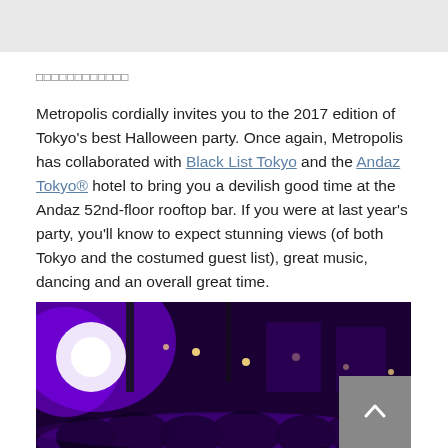□□□□□□□□□□□□
Metropolis cordially invites you to the 2017 edition of Tokyo's best Halloween party. Once again, Metropolis has collaborated with Black List Tokyo and the Andaz Tokyo® hotel to bring you a devilish good time at the Andaz 52nd-floor rooftop bar. If you were at last year's party, you'll know to expect stunning views (of both Tokyo and the costumed guest list), great music, dancing and an overall great time.
[Figure (photo): Interior of a rooftop bar venue with purple stage lighting, ceiling lights, and a crowd of people in costumes.]